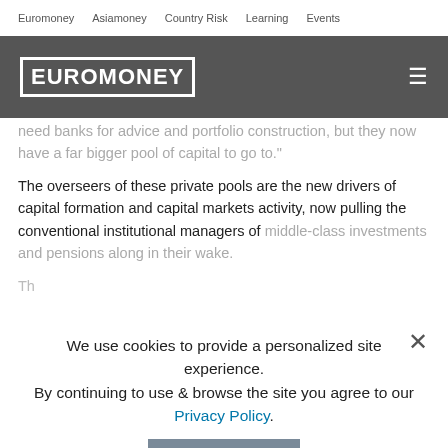Euromoney  Asiamoney  Country Risk  Learning  Events
[Figure (logo): Euromoney logo in white block letters on dark grey header bar with hamburger menu icon]
need banks for advice and portfolio construction, but they now have a far bigger pool of capital to go to."
The overseers of these private pools are the new drivers of capital formation and capital markets activity, now pulling the conventional institutional managers of middle-class investments and pensions along in their wake.
We use cookies to provide a personalized site experience.
By continuing to use & browse the site you agree to our Privacy Policy.
I AGREE
"The good news is that a lot of capital is finding its way to the right places which increasingly support value creation, ultimately to the benefit of everyone," says Vikram Pandit, who began his stoned career in